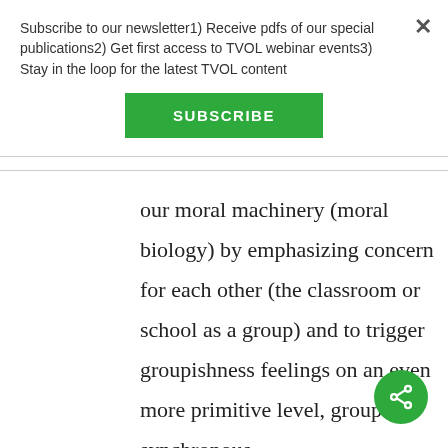Subscribe to our newsletter1) Receive pdfs of our special publications2) Get first access to TVOL webinar events3) Stay in the loop for the latest TVOL content
SUBSCRIBE
our moral machinery (moral biology) by emphasizing concern for each other (the classroom or school as a group) and to trigger groupishness feelings on an even more primitive level, group synchronous